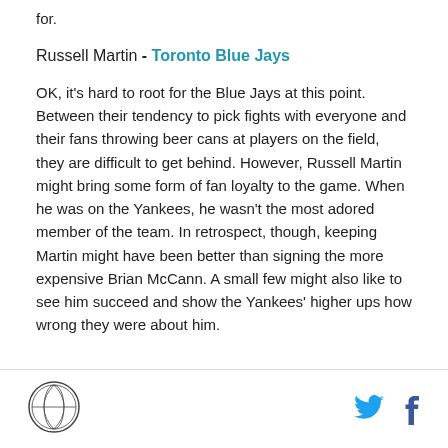for.
Russell Martin - Toronto Blue Jays
OK, it's hard to root for the Blue Jays at this point. Between their tendency to pick fights with everyone and their fans throwing beer cans at players on the field, they are difficult to get behind. However, Russell Martin might bring some form of fan loyalty to the game. When he was on the Yankees, he wasn't the most adored member of the team. In retrospect, though, keeping Martin might have been better than signing the more expensive Brian McCann. A small few might also like to see him succeed and show the Yankees' higher ups how wrong they were about him.
Logo and social media icons